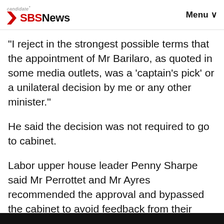candidate* SBS News  Menu
"I reject in the strongest possible terms that the appointment of Mr Barilaro, as quoted in some media outlets, was a 'captain's pick' or a unilateral decision by me or any other minister."
He said the decision was not required to go to cabinet.
Labor upper house leader Penny Sharpe said Mr Perrottet and Mr Ayres recommended the approval and bypassed the cabinet to avoid feedback from their cabinet colleagues.